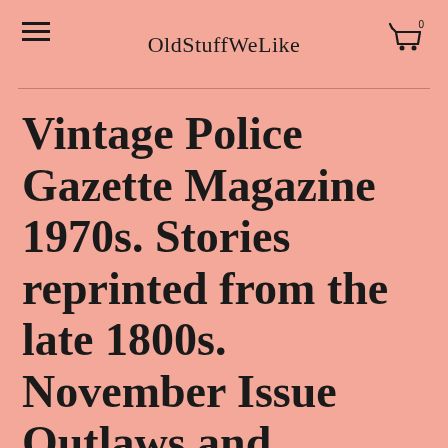OldStuffWeLike
Vintage Police Gazette Magazine 1970s. Stories reprinted from the late 1800s. November Issue Outlaws and bandits.